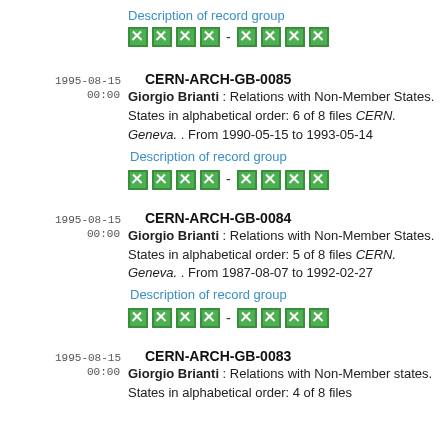Description of record group
[green boxes] - [green boxes]
1995-08-15  CERN-ARCH-GB-0085
00:00  Giorgio Brianti : Relations with Non-Member States. States in alphabetical order: 6 of 8 files CERN. Geneva. . From 1990-05-15 to 1993-05-14
Description of record group
[green boxes] - [green boxes]
1995-08-15  CERN-ARCH-GB-0084
00:00  Giorgio Brianti : Relations with Non-Member States. States in alphabetical order: 5 of 8 files CERN. Geneva. . From 1987-08-07 to 1992-02-27
Description of record group
[green boxes] - [green boxes]
1995-08-15  CERN-ARCH-GB-0083
00:00  Giorgio Brianti : Relations with Non-Member states. States in alphabetical order: 4 of 8 files